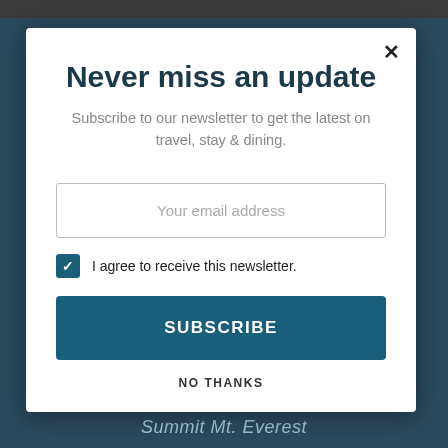[Figure (screenshot): Background image of a snowy mountain landscape (Mt. Everest) with a dark teal/navy overlay. A dark top bar is visible. Bottom text reads 'Summit Mt. Everest'.]
Never miss an update
Subscribe to our newsletter to get the latest on travel, stay & dining.
Your email address
I agree to receive this newsletter.
SUBSCRIBE
NO THANKS
Summit Mt. Everest